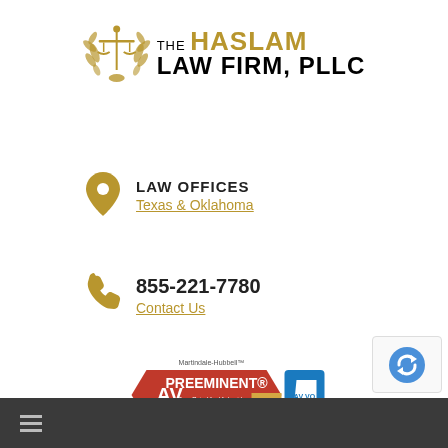[Figure (logo): The Haslam Law Firm PLLC logo with scales of justice emblem and gold/black wordmark]
LAW OFFICES
Texas & Oklahoma
855-221-7780
Contact Us
[Figure (other): Martindale-Hubbell AV Preeminent 2022 badge and Avvo badge]